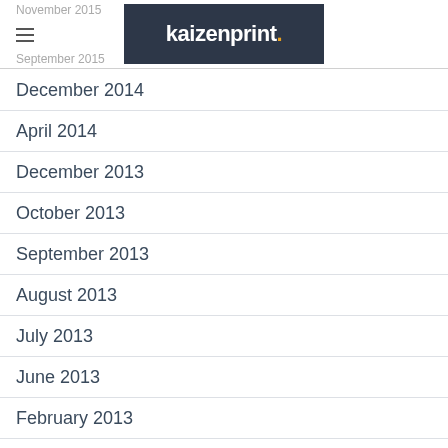November 2015 | kaizenprint. | September 2015
December 2014
April 2014
December 2013
October 2013
September 2013
August 2013
July 2013
June 2013
February 2013
November 2012